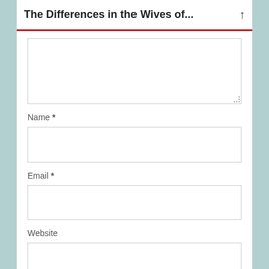The Differences in the Wives of...
[Figure (screenshot): A web form with a comment textarea and input fields for Name, Email, and Website on a light teal background. The form shows empty input boxes with gray borders.]
Name *
Email *
Website